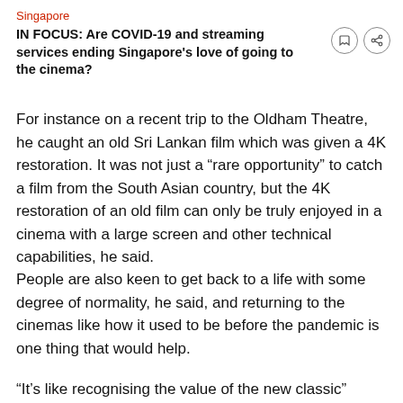Singapore
IN FOCUS: Are COVID-19 and streaming services ending Singapore's love of going to the cinema?
For instance on a recent trip to the Oldham Theatre, he caught an old Sri Lankan film which was given a 4K restoration. It was not just a “rare opportunity” to catch a film from the South Asian country, but the 4K restoration of an old film can only be truly enjoyed in a cinema with a large screen and other technical capabilities, he said.
People are also keen to get back to a life with some degree of normality, he said, and returning to the cinemas like how it used to be before the pandemic is one thing that would help.
“It’s like recognising the value of the new classic”